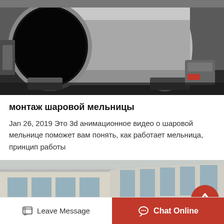[Figure (photo): Large industrial ball mill cylinder mounted on transport supports in a workshop. Dark circular opening visible on near end, light grey metallic drum extending to right.]
монтаж шаровой мельницы
Jan 26, 2019 Это 3d анимационное видео о шаровой мельнице поможет вам понять, как работает мельница, принцип работы
[Figure (photo): Exterior of a light-coloured industrial or administrative building with large windows, photographed from ground level at an angle.]